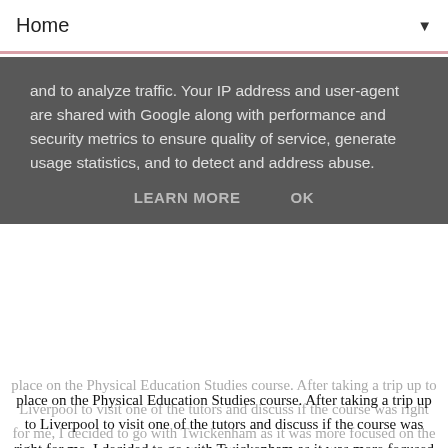Home ▼
and to analyze traffic. Your IP address and user-agent are shared with Google along with performance and security metrics to ensure quality of service, generate usage statistics, and to detect and address abuse.
LEARN MORE   OK
place on the Physical Education Studies course. After taking a trip up to Liverpool to visit one of the tutors and discuss if the course was right for me, I decided to go with Twickenham as it was more focused on the things I wanted to obtain from it, i.e. becoming a PE teacher.
[Figure (photo): Photo of stacked books with a decorative scalloped badge reading 'Tips for Starting University' in an ornate serif font, warm sepia tones]